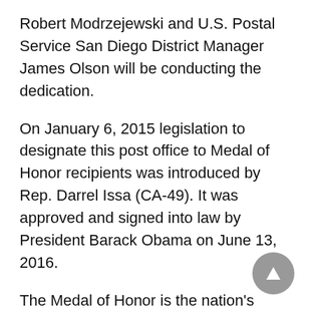Robert Modrzejewski and U.S. Postal Service San Diego District Manager James Olson will be conducting the dedication.
On January 6, 2015 legislation to designate this post office to Medal of Honor recipients was introduced by Rep. Darrel Issa (CA-49). It was approved and signed into law by President Barack Obama on June 13, 2016.
The Medal of Honor is the nation's highest military award for bravery. It is awarded by the President in the name of Congress. For this reason, it is often referred to as the Congressional Medal of Honor. Since it was first presented in 1863, the medal has been awarded to 3,498 recipients.